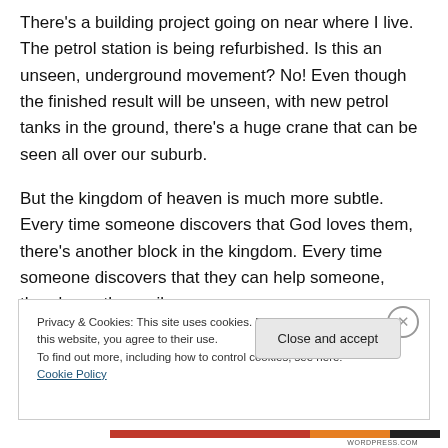There's a building project going on near where I live. The petrol station is being refurbished. Is this an unseen, underground movement? No! Even though the finished result will be unseen, with new petrol tanks in the ground, there's a huge crane that can be seen all over our suburb.
But the kingdom of heaven is much more subtle. Every time someone discovers that God loves them, there's another block in the kingdom. Every time someone discovers that they can help someone, there's another nail
Privacy & Cookies: This site uses cookies. By continuing to use this website, you agree to their use.
To find out more, including how to control cookies, see here: Cookie Policy